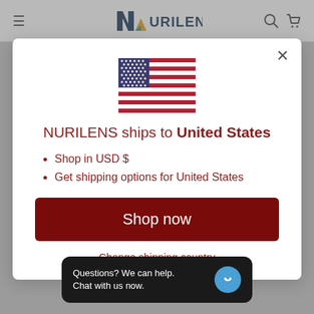[Figure (logo): Nurilens logo with stylized N and triangular shapes in dark blue, teal, and orange colors, followed by text NURILENS]
[Figure (illustration): United States flag]
NURILENS ships to United States
Shop in USD $
Get shipping options for United States
Shop now
Change shipping country
Questions? We can help. Chat with us now.